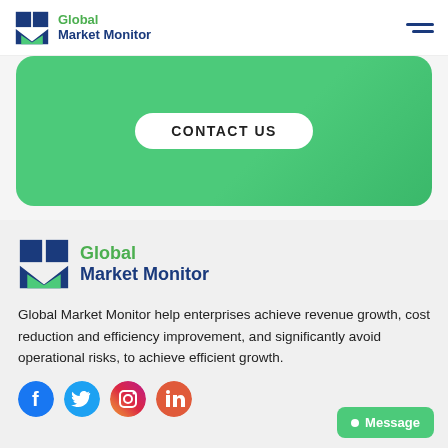Global Market Monitor
[Figure (other): Green rounded rectangle contact us section with a white pill-shaped CONTACT US button]
[Figure (logo): Global Market Monitor logo with green checkmark M icon and blue text]
Global Market Monitor help enterprises achieve revenue growth, cost reduction and efficiency improvement, and significantly avoid operational risks, to achieve efficient growth.
[Figure (other): Social media icons row: Facebook, Twitter, Instagram, LinkedIn]
[Figure (other): Green Message button at bottom right]